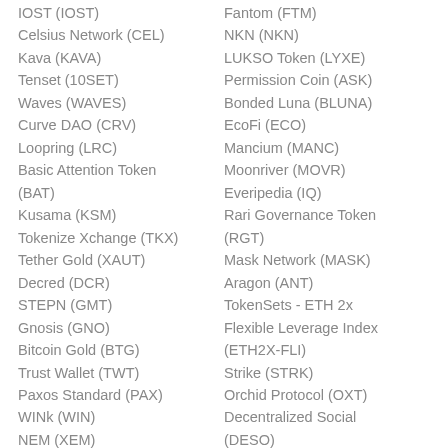IOST (IOST)
Celsius Network (CEL)
Kava (KAVA)
Tenset (10SET)
Waves (WAVES)
Curve DAO (CRV)
Loopring (LRC)
Basic Attention Token (BAT)
Kusama (KSM)
Tokenize Xchange (TKX)
Tether Gold (XAUT)
Decred (DCR)
STEPN (GMT)
Gnosis (GNO)
Bitcoin Gold (BTG)
Trust Wallet (TWT)
Paxos Standard (PAX)
WINk (WIN)
NEM (XEM)
Fantom (FTM)
NKN (NKN)
LUKSO Token (LYXE)
Permission Coin (ASK)
Bonded Luna (BLUNA)
EcoFi (ECO)
Mancium (MANC)
Moonriver (MOVR)
Everipedia (IQ)
Rari Governance Token (RGT)
Mask Network (MASK)
Aragon (ANT)
TokenSets - ETH 2x Flexible Leverage Index (ETH2X-FLI)
Strike (STRK)
Orchid Protocol (OXT)
Decentralized Social (DESO)